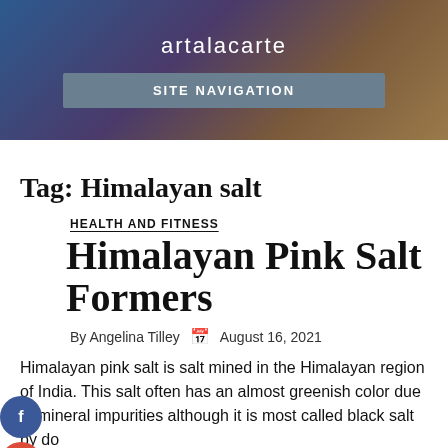artalacarte
SITE NAVIGATION
Tag: Himalayan salt
HEALTH AND FITNESS
Himalayan Pink Salt Formers
By Angelina Tilley   August 16, 2021
Himalayan pink salt is salt mined in the Himalayan region of India. This salt often has an almost greenish color due to mineral impurities although it is most called black salt by do